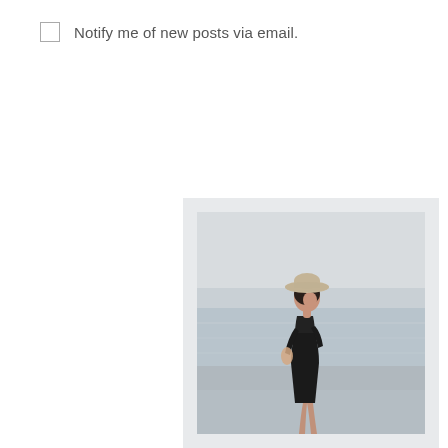Notify me of new posts via email.
[Figure (photo): A woman in a black dress and wide-brim hat standing barefoot on a beach, photographed from behind/side, holding something, with ocean waves in the background. The image has a light, airy, overcast tone.]